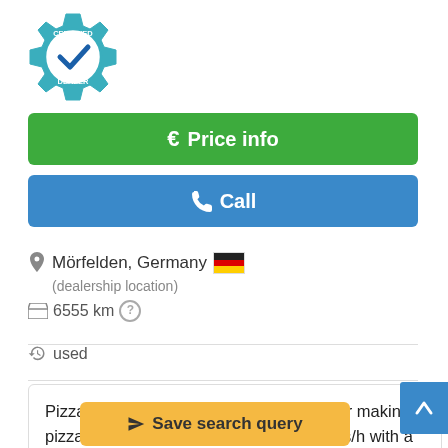[Figure (logo): Certified Dealer badge: teal gear icon with checkmark and text CERTIFIED DEALER]
€ Price info
✆ Call
Mörfelden, Germany 🇩🇪
(dealership location)
6555 km ?
used
Pizza Dough Sheeter Rondo Pizzolo * For making pizza bases * Capacity: 200 to 300 pieces/h with a diameter of 13 to 33 cm * Machine-type: SPR53B * Roller lenght 500 mm * R...
✈ Save search query